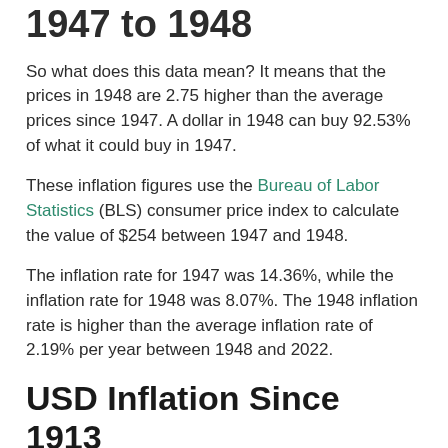1947 to 1948
So what does this data mean? It means that the prices in 1948 are 2.75 higher than the average prices since 1947. A dollar in 1948 can buy 92.53% of what it could buy in 1947.
These inflation figures use the Bureau of Labor Statistics (BLS) consumer price index to calculate the value of $254 between 1947 and 1948.
The inflation rate for 1947 was 14.36%, while the inflation rate for 1948 was 8.07%. The 1948 inflation rate is higher than the average inflation rate of 2.19% per year between 1948 and 2022.
USD Inflation Since 1913
The chart below shows the inflation rate from